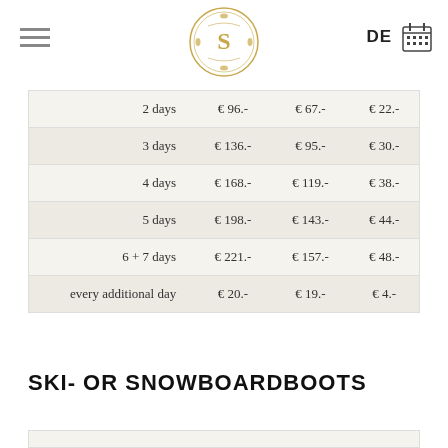DE
|  | Col1 | Col2 | Col3 |
| --- | --- | --- | --- |
| 2 days | € 96.- | € 67.- | € 22.- |
| 3 days | € 136.- | € 95.- | € 30.- |
| 4 days | € 168.- | € 119.- | € 38.- |
| 5 days | € 198.- | € 143.- | € 44.- |
| 6 + 7 days | € 221.- | € 157.- | € 48.- |
| every additional day | € 20.- | € 19.- | € 4.- |
SKI- OR SNOWBOARDBOOTS